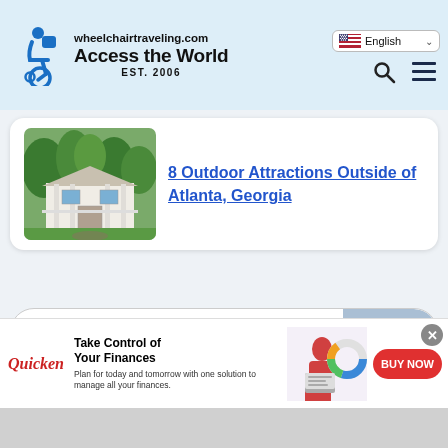wheelchairtraveling.com Access the World EST. 2006
[Figure (screenshot): Website screenshot of wheelchairtraveling.com showing header with logo, English language selector, search and menu icons]
[Figure (photo): Photo of a white antebellum-style house with large trees and green lawn in front]
8 Outdoor Attractions Outside of Atlanta, Georgia
Where to?
Search
Take Control of Your Finances
Plan for today and tomorrow with one solution to manage all your finances.
BUY NOW
Quicken